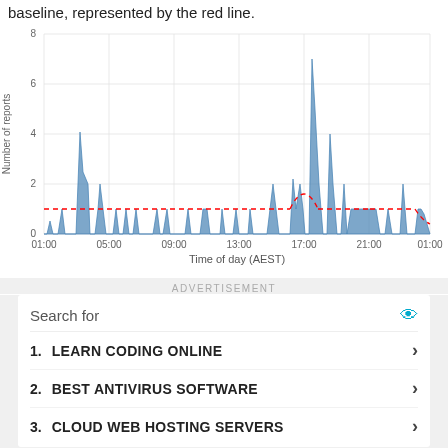baseline, represented by the red line.
[Figure (area-chart): Area chart showing number of reports over time of day (AEST) from 01:00 to 01:00. Blue filled area with multiple spikes: ~1 near 01:00, ~1 near 03:00, ~4 near 05:00, ~2 near 07:00, ~1 near 09:00-11:00, ~2 near 13:00-15:00, ~1 near 15:00, ~2 near 17:00, ~6 near 18:30, ~2 near 19:30, ~1 near 20:00, flat ~1 area around 20:30-21:30, ~1 near 22:30, ~2 near 23:30. A dashed red baseline line runs roughly at y=1 throughout.]
ADVERTISEMENT
Search for
1. LEARN CODING ONLINE
2. BEST ANTIVIRUS SOFTWARE
3. CLOUD WEB HOSTING SERVERS